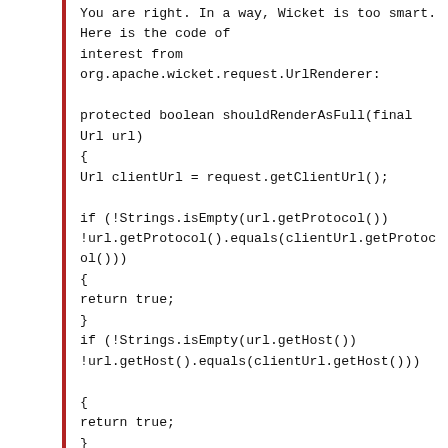You are right. In a way, Wicket is too smart. Here is the code of interest from org.apache.wicket.request.UrlRenderer:
protected boolean shouldRenderAsFull(final Url url)
{
Url clientUrl = request.getClientUrl();

if (!Strings.isEmpty(url.getProtocol())
!url.getProtocol().equals(clientUrl.getProtocol()))
{
return true;
}
if (!Strings.isEmpty(url.getHost())
!url.getHost().equals(clientUrl.getHost()))

{
return true;
}
if ((url.getPort() != null)
!url.getPort().equals(clientUrl.getPort()))